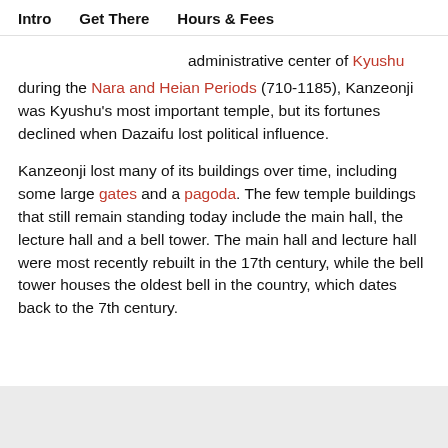Intro   Get There   Hours & Fees
administrative center of Kyushu during the Nara and Heian Periods (710-1185), Kanzeonji was Kyushu's most important temple, but its fortunes declined when Dazaifu lost political influence.

Kanzeonji lost many of its buildings over time, including some large gates and a pagoda. The few temple buildings that still remain standing today include the main hall, the lecture hall and a bell tower. The main hall and lecture hall were most recently rebuilt in the 17th century, while the bell tower houses the oldest bell in the country, which dates back to the 7th century.